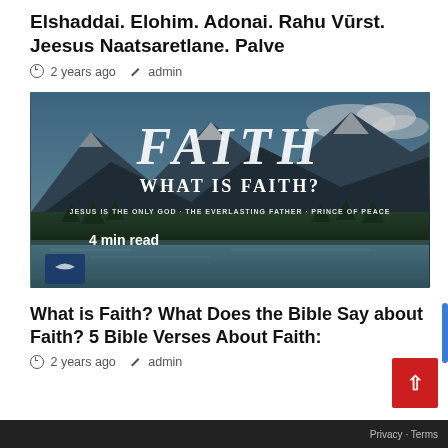Elshaddai. Elohim. Adonai. Rahu Vūrst. Jeesus Naatsaretlane. Palve
⊙ 2 years ago  ✎ admin
[Figure (photo): Scenic mountain landscape with lake reflection. Large white bold italic text reads 'FAITH' at top, below it 'WHAT IS FAITH?' in serif white caps, and below that 'JESUS IS THE ONLY GOD - THE EVERLASTING FATHER - PRINCE OF PEACE'. Bottom left shows '4 min read' and a dark blue icon.]
What is Faith? What Does the Bible Say about Faith? 5 Bible Verses About Faith:
⊙ 2 years ago  ✎ admin
Privacy · Terms